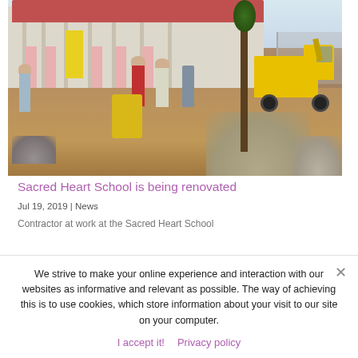[Figure (photo): Construction workers and yellow truck at Sacred Heart School renovation site, with building in background and dirt/gravel in foreground]
Sacred Heart School is being renovated
Jul 19, 2019 | News
Contractor at work at the Sacred Heart School
We strive to make your online experience and interaction with our websites as informative and relevant as possible. The way of achieving this is to use cookies, which store information about your visit to our site on your computer.
I accept it!   Privacy policy